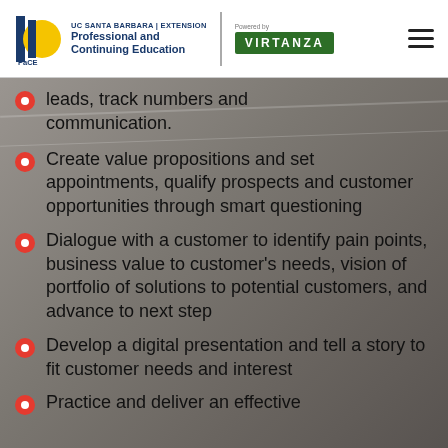[Figure (logo): UC Santa Barbara Extension PaCE logo with VIRTANZA powered by badge and hamburger menu]
leads, track numbers and communication.
Create value propositions and set appointments, qualify prospects and customer opportunities through smart questioning
Dialogue with a customer to identify pain points, business value to customer's needs, vision of portfolio of solutions to potential customers, and advance to next step
Develop a digital presentation and tell a story to fit customer needs and interest
Practice and deliver an effective...